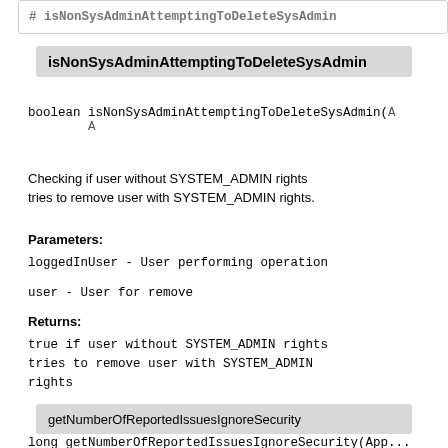isNonSysAdminAttemptingToDeleteSysAdmin
boolean isNonSysAdminAttemptingToDeleteSysAdmin(A...
Checking if user without SYSTEM_ADMIN rights tries to remove user with SYSTEM_ADMIN rights.
Parameters:
loggedInUser - User performing operation
user - User for remove
Returns:
true if user without SYSTEM_ADMIN rights tries to remove user with SYSTEM_ADMIN rights
getNumberOfReportedIssuesIgnoreSecurity
long getNumberOfReportedIssuesIgnoreSecurity(App...